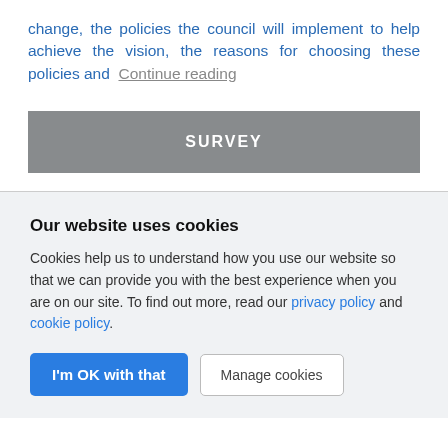change, the policies the council will implement to help achieve the vision, the reasons for choosing these policies and  Continue reading
SURVEY
Our website uses cookies
Cookies help us to understand how you use our website so that we can provide you with the best experience when you are on our site. To find out more, read our privacy policy and cookie policy.
I'm OK with that  Manage cookies